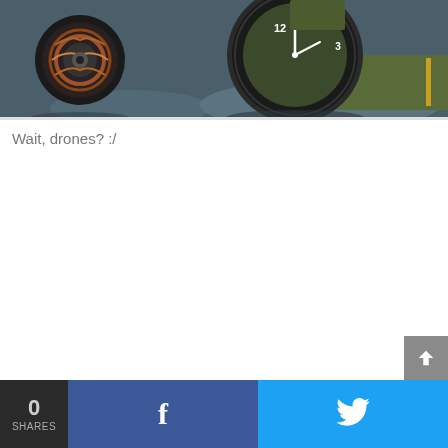[Figure (photo): Close-up photo of a green military-style watch with large numerals next to what appears to be a drone motor/propeller component, on a dark bluish-grey surface.]
Wait, drones? :/